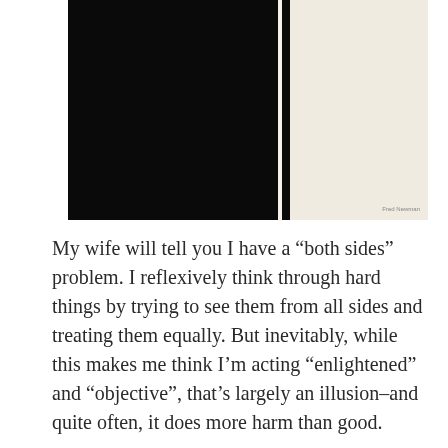[Figure (photo): Abstract painting with a large black panel on the left, a thin cream divider, a narrow black vertical stripe, and a cream/off-white panel on the right. Minimalist black and white artwork.]
My wife will tell you I have a “both sides” problem. I reflexively think through hard things by trying to see them from all sides and treating them equally. But inevitably, while this makes me think I’m acting “enlightened” and “objective”, that’s largely an illusion–and quite often, it does more harm than good.